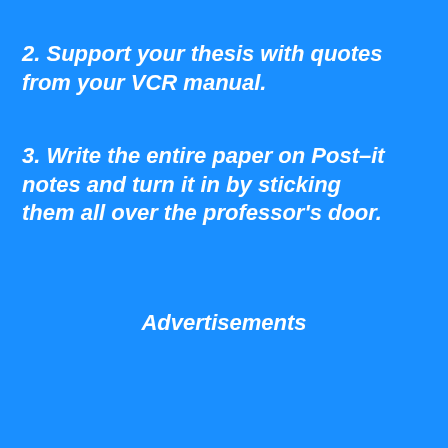2. Support your thesis with quotes from your VCR manual.
3. Write the entire paper on Post–it notes and turn it in by sticking them all over the professor's door.
Advertisements